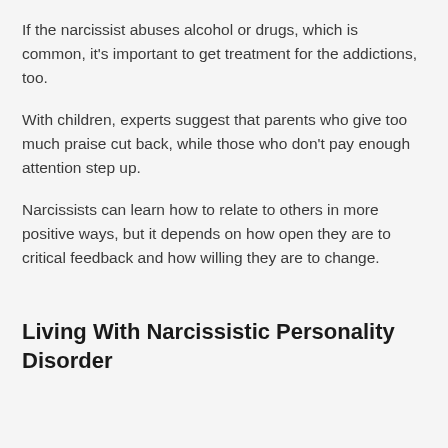If the narcissist abuses alcohol or drugs, which is common, it's important to get treatment for the addictions, too.
With children, experts suggest that parents who give too much praise cut back, while those who don't pay enough attention step up.
Narcissists can learn how to relate to others in more positive ways, but it depends on how open they are to critical feedback and how willing they are to change.
Living With Narcissistic Personality Disorder